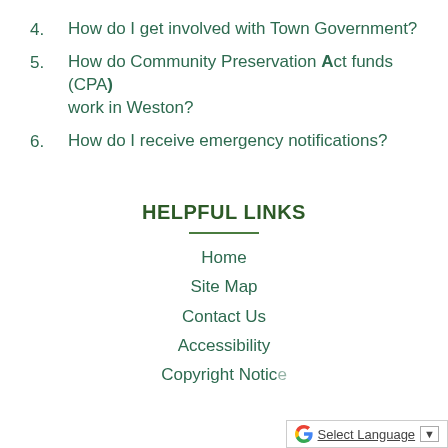4.    How do I get involved with Town Government?
5.    How do Community Preservation Act funds (CPA) work in Weston?
6.    How do I receive emergency notifications?
HELPFUL LINKS
Home
Site Map
Contact Us
Accessibility
Copyright Notice